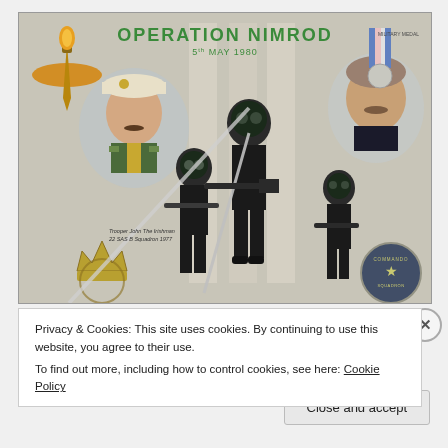[Figure (illustration): Illustrated artwork titled 'OPERATION NIMROD 5th MAY 1980' showing SAS operatives in black tactical gear with gas masks storming a building, portraits of two men (one in military uniform on left, one civilian on right), the SAS winged dagger badge top left, a military medal top right, a crown emblem bottom left, and a commando squadron badge bottom right. Small text reads 'Trooper John the Irishman 22 SAS B Squadron 1977'.]
Privacy & Cookies: This site uses cookies. By continuing to use this website, you agree to their use.
To find out more, including how to control cookies, see here: Cookie Policy
Close and accept